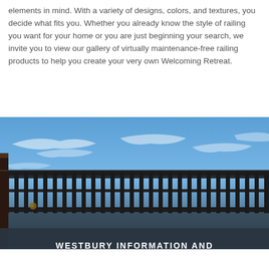elements in mind. With a variety of designs, colors, and textures, you decide what fits you. Whether you already know the style of railing you want for your home or you are just beginning your search, we invite you to view our gallery of virtually maintenance-free railing products to help you create your very own Welcoming Retreat.
[Figure (photo): Photo of a dark metal railing with vertical balusters against a bright blue sky with wispy clouds. The railing runs horizontally across the frame.]
WESTBURY INFORMATION AND